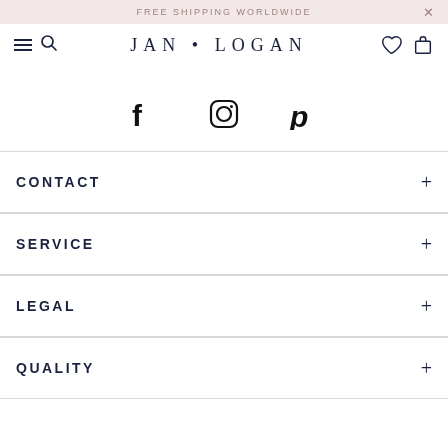FREE SHIPPING WORLDWIDE
JAN • LOGAN
[Figure (logo): Social media icons: Facebook, Instagram, Pinterest]
CONTACT +
SERVICE +
LEGAL +
QUALITY +